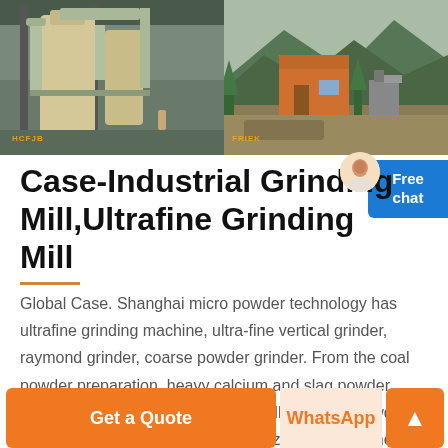[Figure (photo): Two industrial site photos side by side: left shows indoor grinding mill machinery with large cylindrical equipment and pipes; right shows outdoor mining/quarry site with orange building, machinery, and mountains in background.]
Case-Industrial Grinding Mill,Ultrafine Grinding Mill
Global Case. Shanghai micro powder technology has ultrafine grinding machine, ultra-fine vertical grinder, raymond grinder, coarse powder grinder. From the coal powder preparation, heavy calcium and slag powder processing, to large-scale non-metallic mineral powder, power plant environmental desulfurization, limestone
Get a Quote
WhatsApp